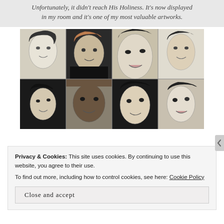Unfortunately, it didn't reach His Holiness. It's now displayed in my room and it's one of my most valuable artworks.
[Figure (illustration): A 4x2 grid of pencil/charcoal portrait drawings of celebrities including a young woman, Ed Sheeran, a female celebrity, David Beckham, Ariana Grande, Kobe Bryant, a female celebrity, and Taylor Swift.]
Privacy & Cookies: This site uses cookies. By continuing to use this website, you agree to their use.
To find out more, including how to control cookies, see here: Cookie Policy
Close and accept